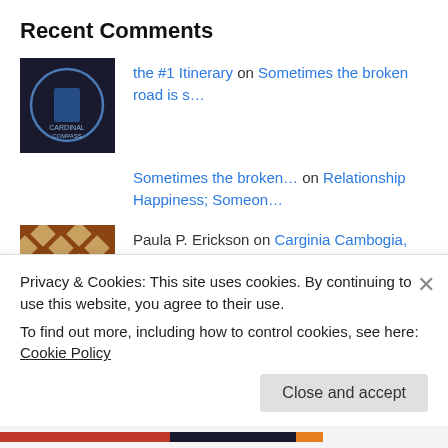Recent Comments
the #1 Itinerary on Sometimes the broken road is s…
Sometimes the broken… on Relationship Happiness; Someon…
Paula P. Erickson on Carginia Cambogia, my experien…
Paula P. Erickson on Carginia Cambogia, my experien…
halipawz on Mounted Archery – What A…
Privacy & Cookies: This site uses cookies. By continuing to use this website, you agree to their use.
To find out more, including how to control cookies, see here: Cookie Policy